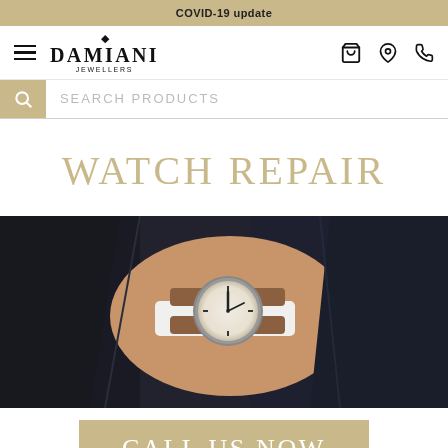COVID-19 update
[Figure (logo): Damiani Jewellers logo with hamburger menu icon and navigation icons (cart, location, phone)]
SEARCH PRODUCTS
WATCH REPAIR
[Figure (photo): Close-up photo of a man in a dark suit adjusting or displaying a luxury watch with a tan leather strap on his wrist]
CALL US NOW